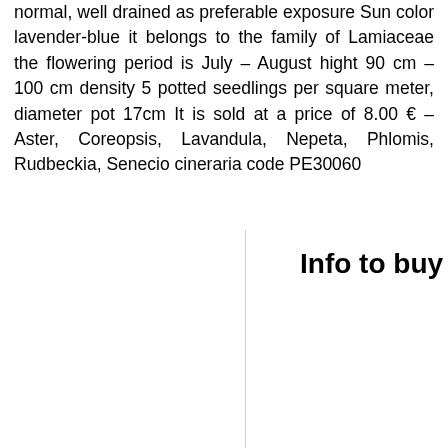normal, well drained as preferable exposure Sun color lavender-blue it belongs to the family of Lamiaceae the flowering period is July – August hight 90 cm – 100 cm density 5 potted seedlings per square meter, diameter pot 17cm It is sold at a price of 8.00 € – Aster, Coreopsis, Lavandula, Nepeta, Phlomis, Rudbeckia, Senecio cineraria code PE30060
Info to buy